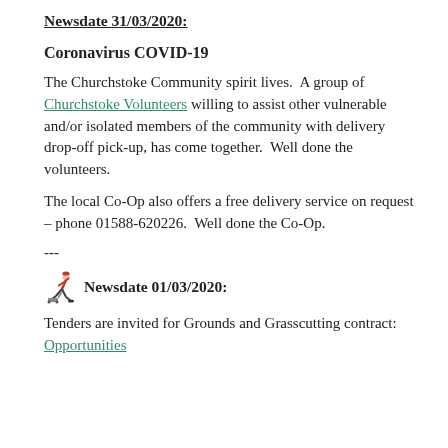Newsdate 31/03/2020:
Coronavirus COVID-19
The Churchstoke Community spirit lives.  A group of Churchstoke Volunteers willing to assist other vulnerable and/or isolated members of the community with delivery drop-off pick-up, has come together.  Well done the volunteers.
The local Co-Op also offers a free delivery service on request – phone 01588-620226.  Well done the Co-Op.
---
Newsdate 01/03/2020:
Tenders are invited for Grounds and Grasscutting contract: Opportunities